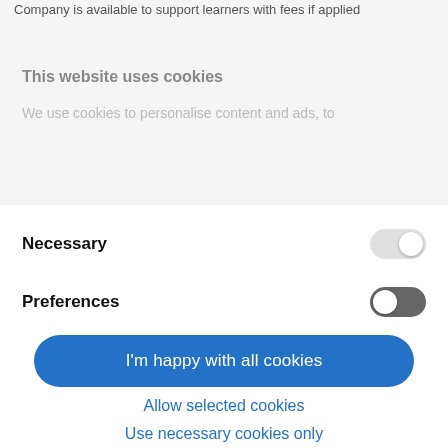Company is available to support learners with fees if applied
This website uses cookies
We use cookies to personalise content and ads, to
Necessary
Preferences
I'm happy with all cookies
Allow selected cookies
Use necessary cookies only
Powered by Cookiebot by Usercentrics